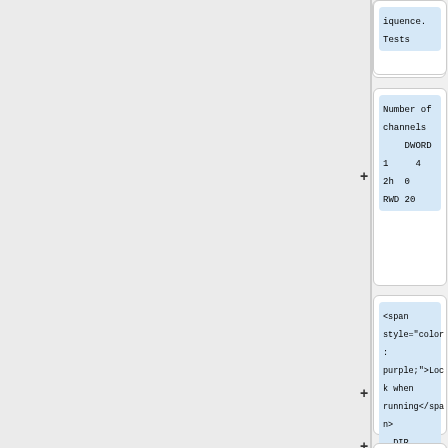Tests
Number of channels
DWORD
1    4
2h   0
RWD  20
<span style="color: purple;">Lock when running</span>
DIR
Num channels -> /Run